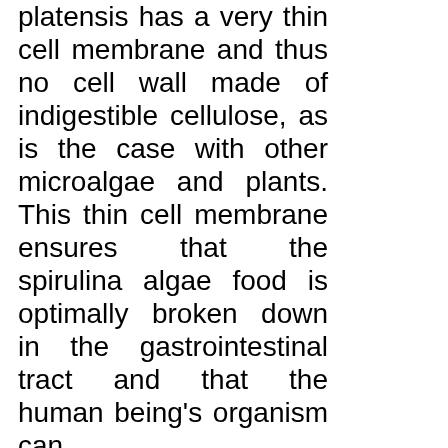platensis has a very thin cell membrane and thus no cell wall made of indigestible cellulose, as is the case with other microalgae and plants. This thin cell membrane ensures that the spirulina algae food is optimally broken down in the gastrointestinal tract and that the human being's organism can